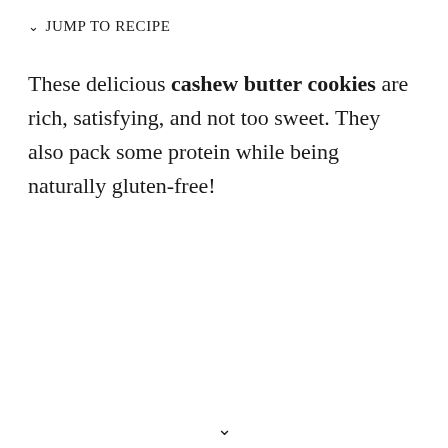✓ JUMP TO RECIPE
These delicious cashew butter cookies are rich, satisfying, and not too sweet. They also pack some protein while being naturally gluten-free!
v